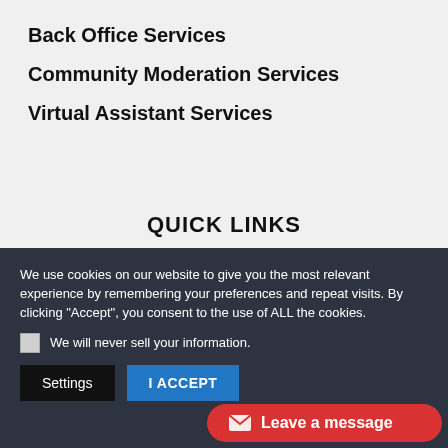Back Office Services
Community Moderation Services
Virtual Assistant Services
QUICK LINKS
We use cookies on our website to give you the most relevant experience by remembering your preferences and repeat visits. By clicking "Accept", you consent to the use of ALL the cookies.
We will never sell your information.
Settings
I ACCEPT
Leave a message